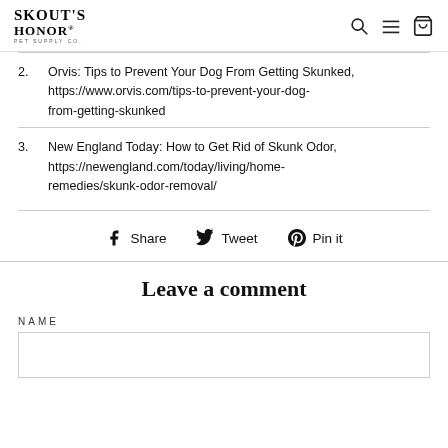Skout's Honor Pet Supply Co. [logo with search, menu, cart icons]
2. Orvis: Tips to Prevent Your Dog From Getting Skunked, https://www.orvis.com/tips-to-prevent-your-dog-from-getting-skunked
3. New England Today: How to Get Rid of Skunk Odor, https://newengland.com/today/living/home-remedies/skunk-odor-removal/
Share  Tweet  Pin it
Leave a comment
NAME